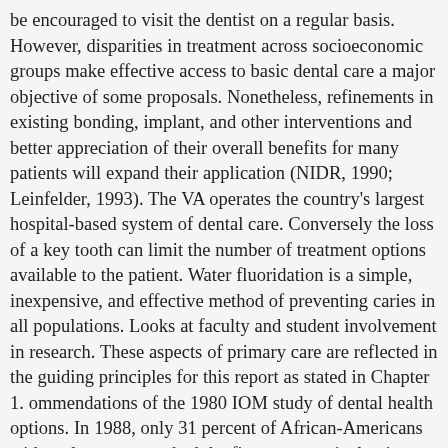be encouraged to visit the dentist on a regular basis. However, disparities in treatment across socioeconomic groups make effective access to basic dental care a major objective of some proposals. Nonetheless, refinements in existing bonding, implant, and other interventions and better appreciation of their overall benefits for many patients will expand their application (NIDR, 1990; Leinfelder, 1993). The VA operates the country's largest hospital-based system of dental care. Conversely the loss of a key tooth can limit the number of treatment options available to the patient. Water fluoridation is a simple, inexpensive, and effective method of preventing caries in all populations. Looks at faculty and student involvement in research. These aspects of primary care are reflected in the guiding principles for this report as stated in Chapter 1. ommendations of the 1980 IOM study of dental health options. In 1988, only 31 percent of African-Americans with oral cancers reached the five-year survival point compared to 53 percent of white Americans. Last would be